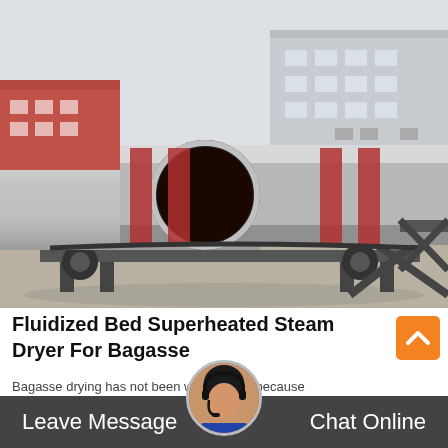[Figure (photo): Industrial rotary drum dryer equipment (large cylindrical metal tubes on support frames) photographed in an outdoor factory/industrial yard, with factory buildings visible in the background.]
Fluidized Bed Superheated Steam Dryer For Bagasse
Bagasse drying has not been widely used because